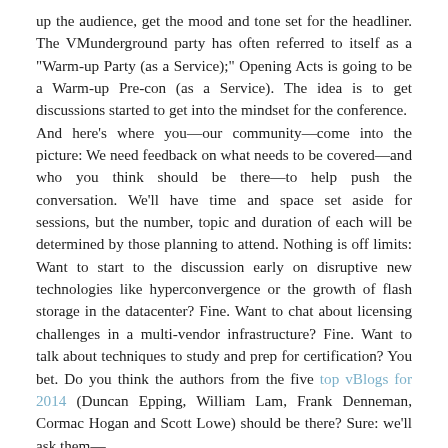up the audience, get the mood and tone set for the headliner. The VMunderground party has often referred to itself as a "Warm-up Party (as a Service);" Opening Acts is going to be a Warm-up Pre-con (as a Service). The idea is to get discussions started to get into the mindset for the conference.
And here's where you—our community—come into the picture: We need feedback on what needs to be covered—and who you think should be there—to help push the conversation. We'll have time and space set aside for sessions, but the number, topic and duration of each will be determined by those planning to attend. Nothing is off limits: Want to start to the discussion early on disruptive new technologies like hyperconvergence or the growth of flash storage in the datacenter? Fine. Want to chat about licensing challenges in a multi-vendor infrastructure? Fine. Want to talk about techniques to study and prep for certification? You bet. Do you think the authors from the five top vBlogs for 2014 (Duncan Epping, William Lam, Frank Denneman, Cormac Hogan and Scott Lowe) should be there? Sure: we'll ask them—